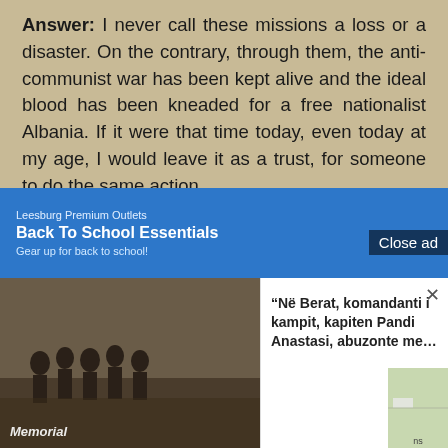Answer: I never call these missions a loss or a disaster. On the contrary, through them, the anti-communist war has been kept alive and the ideal blood has been kneaded for a free nationalist Albania. If it were that time today, even today at my age, I would leave it as a trust, for someone to do the same action.

The only concern I had, not only me but also my friends with whom we have inspired and prepared (as you say) this activity, as prof. Koliqi, z. Deva, z. Verlaci, my father, John Mark John and our true friends, the Admiral of the Italian Navy, Talarigo, Count Carobio and the two
[Figure (screenshot): A screenshot of a web page showing the answer text with overlaid advertisements. Bottom portion shows: an 'Ad' label, a 'Close ad' button, a blue advertisement bar for 'Leesburg Premium Outlets - Back To School Essentials', a photo thumbnail of a group of people labeled 'Memorial', and a popup card with Albanian text quote starting with 'Në Berat, komandanti i kampit, kapiten Pandi Anastasi, abuzonte me...' with a close X button, and a green map thumbnail.]